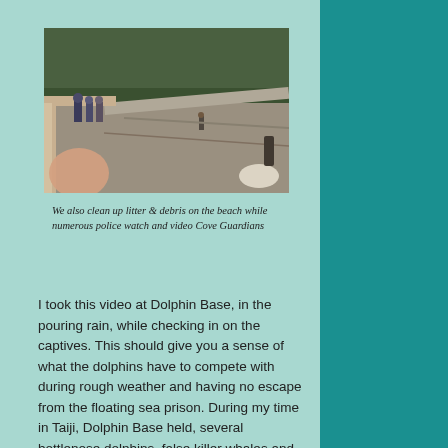[Figure (photo): Outdoor scene showing a beach/cove area with people standing on a railing-lined path on the left, trees in the background, and a person visible in the middle distance on a sandy/graveled surface.]
We also clean up litter & debris on the beach while numerous police watch and video Cove Guardians
I took this video at Dolphin Base, in the pouring rain, while checking in on the captives. This should give you a sense of what the dolphins have to compete with during rough weather and having no escape from the floating sea prison. During my time in Taiji, Dolphin Base held, several bottlenose dolphins, false killer whales and several pacific white sided dolphins.